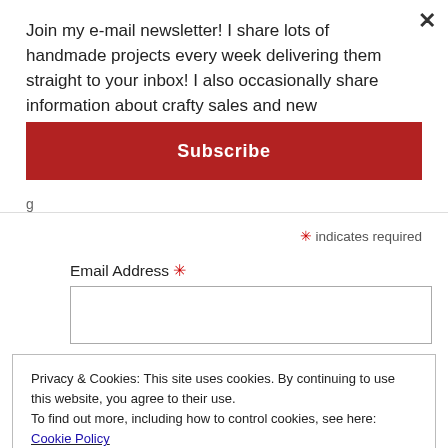×
Join my e-mail newsletter! I share lots of handmade projects every week delivering them straight to your inbox! I also occasionally share information about crafty sales and new
Subscribe
g
* indicates required
Email Address *
Privacy & Cookies: This site uses cookies. By continuing to use this website, you agree to their use.
To find out more, including how to control cookies, see here: Cookie Policy
Close and accept